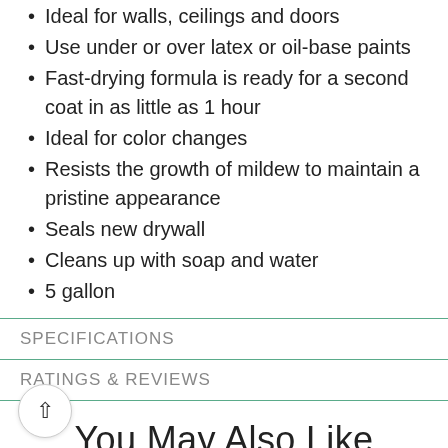Ideal for walls, ceilings and doors
Use under or over latex or oil-base paints
Fast-drying formula is ready for a second coat in as little as 1 hour
Ideal for color changes
Resists the growth of mildew to maintain a pristine appearance
Seals new drywall
Cleans up with soap and water
5 gallon
SPECIFICATIONS
RATINGS & REVIEWS
You May Also Like